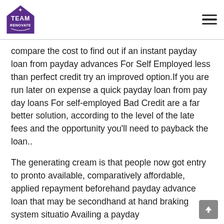Team Renovate logo and navigation menu
compare the cost to find out if an instant payday loan from payday advances For Self Employed less than perfect credit try an improved option.If you are run later on expense a quick payday loan from pay day loans For self-employed Bad Credit are a far better solution, according to the level of the late fees and the opportunity you'll need to payback the loan..
The generating cream is that people now got entry to pronto available, comparatively affordable, applied repayment beforehand payday advance loan that may be secondhand at hand braking system situatio Availing a payday